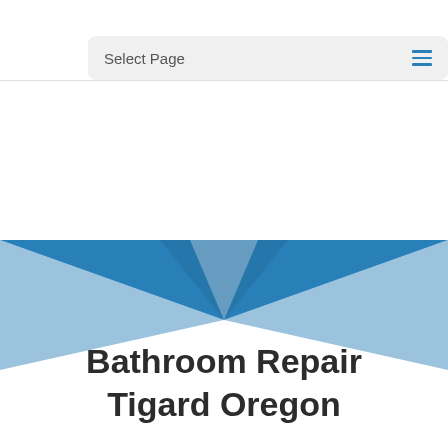Select Page
[Figure (illustration): Decorative graphic with blue triangular/wing shapes forming an X or bowtie pattern on a white background]
Bathroom Repair Tigard Oregon